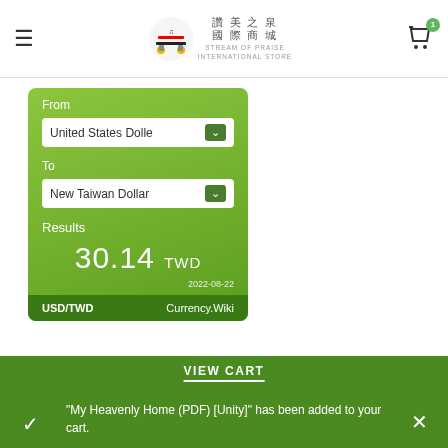≡  讚美之泉 國際商城  STREAM OF PRAISE INTERNATIONAL STORE  [cart icon with badge 1]
[Figure (screenshot): Currency converter widget showing From: United States Dollar, To: New Taiwan Dollar, Results: 30.14 TWD, date 2022-08-22, USD/TWD Currency.Wiki]
ONLINE STORES IN OTHER COUNTRIES
"My Heavenly Home (PDF) [Unity]" has been added to your cart.
VIEW CART